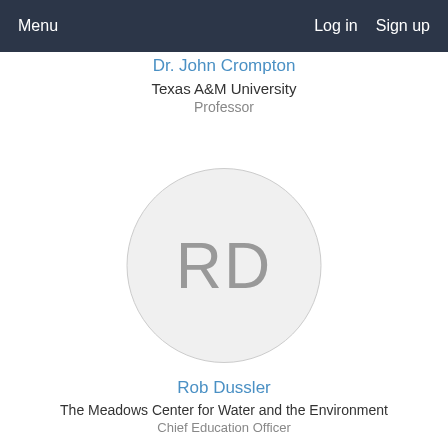Menu   Log in   Sign up
Dr. John Crompton
Texas A&M University
Professor
[Figure (illustration): Avatar placeholder circle with initials RD in gray]
Rob Dussler
The Meadows Center for Water and the Environment
Chief Education Officer